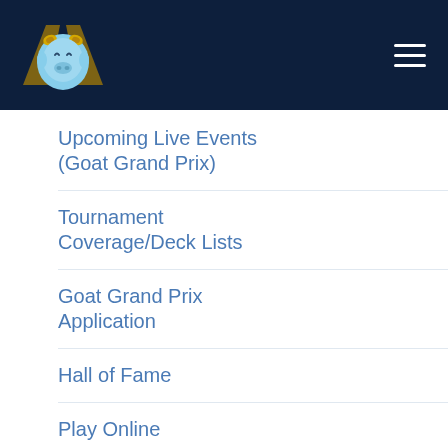Goat Grand Prix navigation header with logo and hamburger menu
Upcoming Live Events (Goat Grand Prix)
Tournament Coverage/Deck Lists
Goat Grand Prix Application
Hall of Fame
Play Online